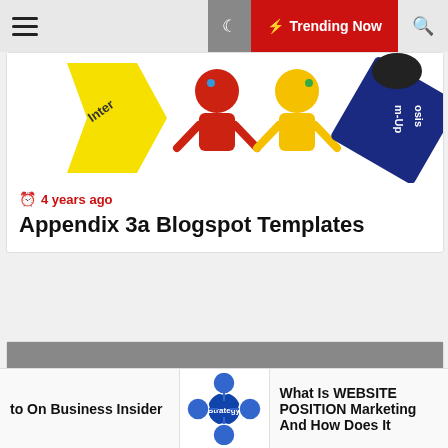☰ | 🌙 | ⚡ Trending Now | 🔍
[Figure (illustration): Colorful cartoon mascot figures with yellow star shape labeled 'Inter' and blue banner labeled 'm-Up osis', red and yellow figures in center]
4 years ago
Appendix 3a Blogspot Templates
[Figure (photo): Gray placeholder image block]
1 year ago
to On Business Insider
[Figure (illustration): Blue circular network/strategy diagram with connected nodes]
What Is WEBSITE POSITION Marketing And How Does It